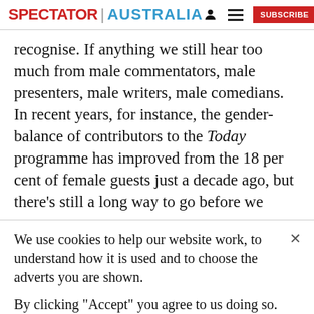SPECTATOR | AUSTRALIA
recognise. If anything we still hear too much from male commentators, male presenters, male writers, male comedians. In recent years, for instance, the gender-balance of contributors to the Today programme has improved from the 18 per cent of female guests just a decade ago, but there's still a long way to go before we
We use cookies to help our website work, to understand how it is used and to choose the adverts you are shown.
By clicking "Accept" you agree to us doing so. You can read more in our privacy policy.
Accept